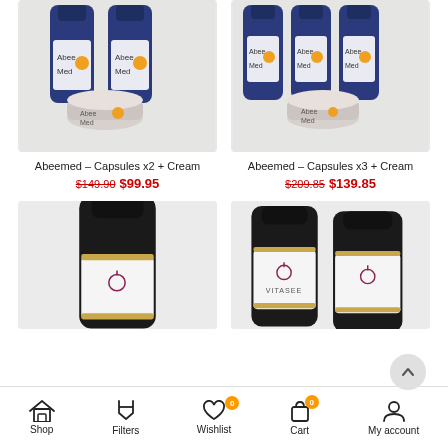[Figure (photo): Product photo of Abeemed Capsules x2 + Cream — two blue supplement bottles and a white cream jar with AbeeMed branding]
Abeemed – Capsules x2 + Cream
$149.90 $99.95
[Figure (photo): Product photo of Abeemed Capsules x3 + Cream — three blue supplement bottles and a white cream jar with AbeeMed branding]
Abeemed – Capsules x3 + Cream
$209.85 $139.85
[Figure (photo): Product photo of a single dark supplement bottle with white label and gold ring, Vitasee brand, partial view]
[Figure (photo): Product photo of two dark supplement bottles with white labels and gold ring, Vitasee brand, partial view]
Shop   Filters   Wishlist 0   Cart 0   My account